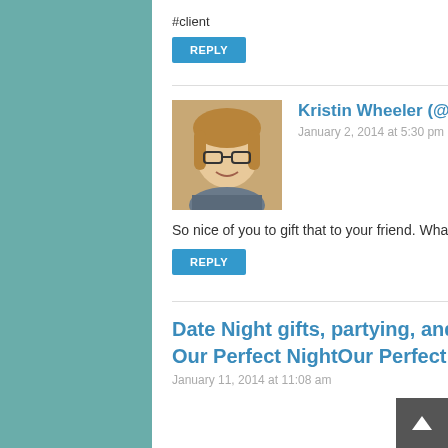#client
REPLY
Kristin Wheeler (@MamaLuvsBooks) says:
January 2, 2014 at 5:30 pm
So nice of you to gift that to your friend. What fun! #client
REPLY
Date Night gifts, partying, and of course, something about Kardashian… | Our Perfect NightOur Perfect Night says:
January 11, 2014 at 11:08 am